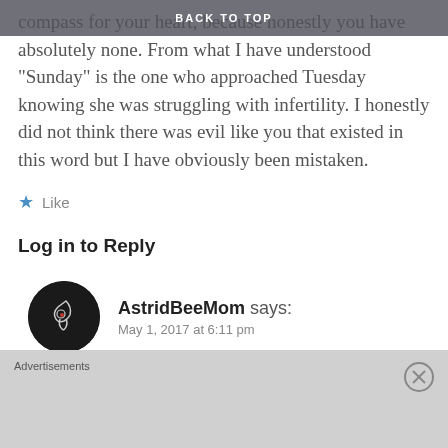BACK TO TOP
compass for your heart, because honestly you have absolutely none. From what I have understood "Sunday" is the one who approached Tuesday knowing she was struggling with infertility. I honestly did not think there was evil like you that existed in this word but I have obviously been mistaken.
★ Like
Log in to Reply
AstridBeeMom says:
May 1, 2017 at 6:11 pm
You who stands in judgment of me – I am totally right by my God. He smiles upon the work I do. Keeping
Advertisements